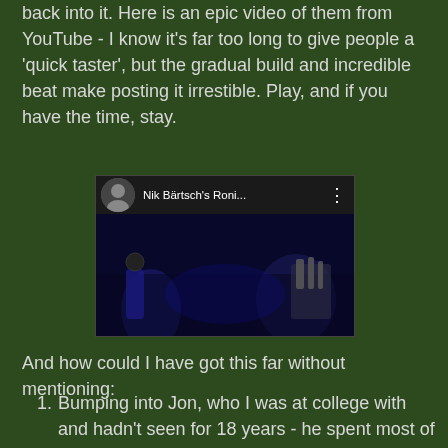back into it. Here is an epic video of them from YouTube - I know it's far too long to give people a 'quick taster', but the gradual build and incredible beat make posting it irrestible. Play, and if you have the time, stay.
[Figure (screenshot): YouTube video embed showing 'Nik Bärtsch's Roni...' with a dark blue-toned band performance scene and a red YouTube play button in the center.]
And how could I have got this far without mentioning:
Bumping into Jon, who I was at college with and hadn't seen for 18 years - he spent most of the evening with us and it was so pleasant to catch up with him and discover how he's managed, incredibly, to become